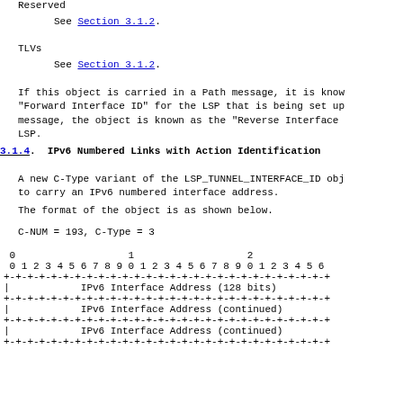Reserved
See Section 3.1.2.
TLVs
See Section 3.1.2.
If this object is carried in a Path message, it is known as the "Forward Interface ID" for the LSP that is being set up. In a Resv message, the object is known as the "Reverse Interface ID" for the LSP.
3.1.4.  IPv6 Numbered Links with Action Identification
A new C-Type variant of the LSP_TUNNEL_INTERFACE_ID object is defined to carry an IPv6 numbered interface address.
The format of the object is as shown below.
C-NUM = 193, C-Type = 3
[Figure (engineering-diagram): Bit field diagram showing IPv6 Interface Address fields. Rows: bit numbers 0-26 across top, then rows for IPv6 Interface Address (128 bits), IPv6 Interface Address (continued) x2, with +- borders between rows.]